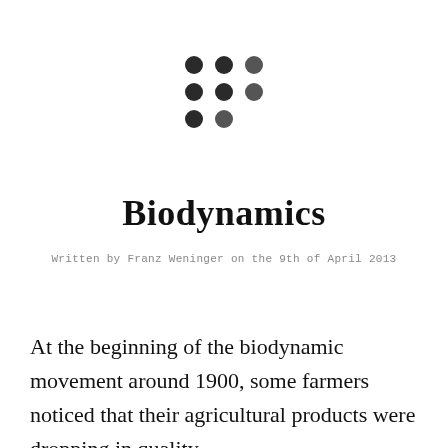[Figure (logo): A 3x3 grid of circles logo with alternating dark and slightly lighter dots arranged in rows of 3, bottom row has 2 dots]
Biodynamics
Written by Franz Weninger on the 9th of April 2013
At the beginning of the biodynamic movement around 1900, some farmers noticed that their agricultural products were dropping in quality.